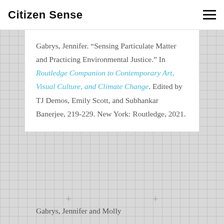Citizen Sense
Gabrys, Jennifer. “Sensing Particulate Matter and Practicing Environmental Justice.” In Routledge Companion to Contemporary Art, Visual Culture, and Climate Change. Edited by TJ Demos, Emily Scott, and Subhankar Banerjee, 219-229. New York: Routledge, 2021.
Gabrys, Jennifer and Molly